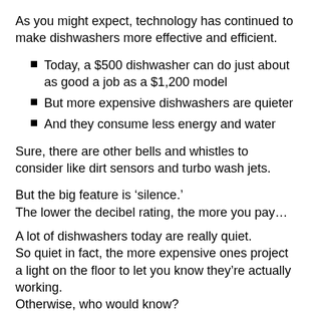As you might expect, technology has continued to make dishwashers more effective and efficient.
Today, a $500 dishwasher can do just about as good a job as a $1,200 model
But more expensive dishwashers are quieter
And they consume less energy and water
Sure, there are other bells and whistles to consider like dirt sensors and turbo wash jets.
But the big feature is ‘silence.’
The lower the decibel rating, the more you pay…
A lot of dishwashers today are really quiet.
So quiet in fact, the more expensive ones project a light on the floor to let you know they’re actually working.
Otherwise, who would know?